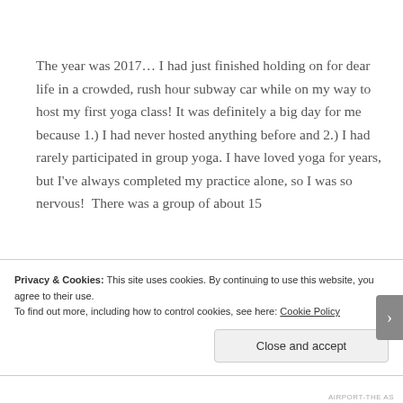The year was 2017… I had just finished holding on for dear life in a crowded, rush hour subway car while on my way to host my first yoga class! It was definitely a big day for me because 1.) I had never hosted anything before and 2.) I had rarely participated in group yoga. I have loved yoga for years, but I’ve always completed my practice alone, so I was so nervous!  There was a group of about 15
Privacy & Cookies: This site uses cookies. By continuing to use this website, you agree to their use.
To find out more, including how to control cookies, see here: Cookie Policy
Close and accept
AIRPORT-THE AS